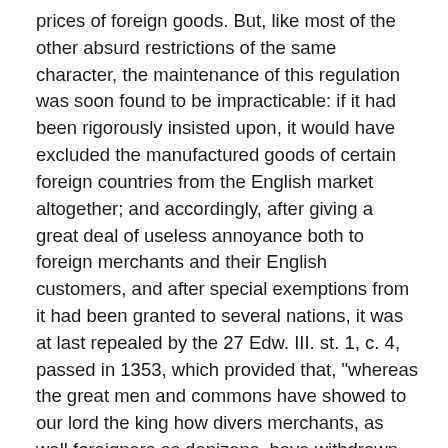prices of foreign goods. But, like most of the other absurd restrictions of the same character, the maintenance of this regulation was soon found to be impracticable: if it had been rigorously insisted upon, it would have excluded the manufactured goods of certain foreign countries from the English market altogether; and accordingly, after giving a great deal of useless annoyance both to foreign merchants and their English customers, and after special exemptions from it had been granted to several nations, it was at last repealed by the 27 Edw. III. st. 1, c. 4, passed in 1353, which provided that, "whereas the great men and commons have showed to our lord the king how divers merchants, as well foreigners as denizens, have withdrawn them, and yet do withdraw them, to come with cloths into England, to the great damage of the king and of all his people, because that the king's aulnager surmiseth to merchant strangers that their cloths be not of assize,"